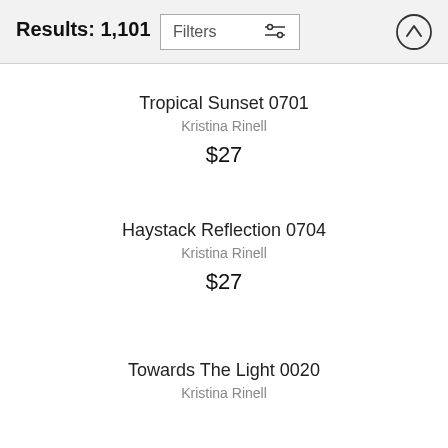Results: 1,101
[Figure (screenshot): Filters button with sliders icon]
[Figure (screenshot): Up arrow button in circle]
Tropical Sunset 0701
Kristina Rinell
$27
Haystack Reflection 0704
Kristina Rinell
$27
Towards The Light 0020
Kristina Rinell